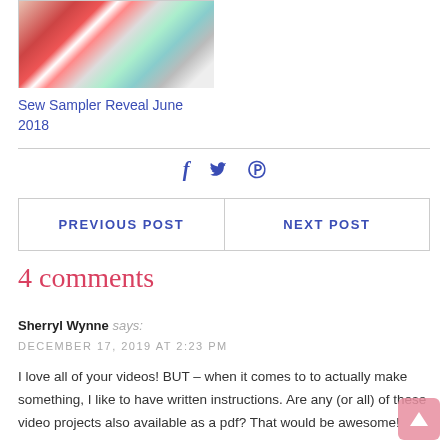[Figure (photo): Thumbnail image of sewing/crafting supplies with holiday theme]
Sew Sampler Reveal June 2018
[Figure (infographic): Social share icons: Facebook (f), Twitter (bird), Pinterest (p)]
PREVIOUS POST | NEXT POST
4 comments
Sherryl Wynne says:
DECEMBER 17, 2019 AT 2:23 PM
I love all of your videos! BUT – when it comes to to actually make something, I like to have written instructions. Are any (or all) of these video projects also available as a pdf? That would be awesome!